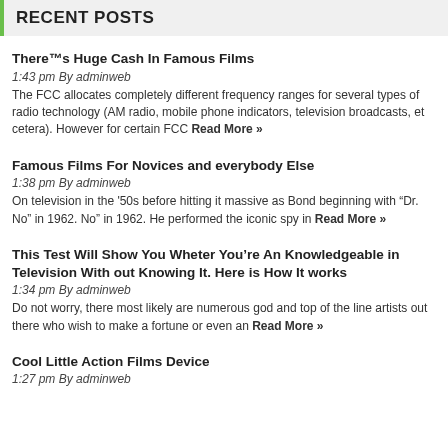RECENT POSTS
Theres Huge Cash In Famous Films
1:43 pm By adminweb
The FCC allocates completely different frequency ranges for several types of radio technology (AM radio, mobile phone indicators, television broadcasts, et cetera). However for certain FCC Read More »
Famous Films For Novices and everybody Else
1:38 pm By adminweb
On television in the '50s before hitting it massive as Bond beginning with “Dr. No” in 1962. No” in 1962. He performed the iconic spy in Read More »
This Test Will Show You Wheter You’re An Knowledgeable in Television With out Knowing It. Here is How It works
1:34 pm By adminweb
Do not worry, there most likely are numerous god and top of the line artists out there who wish to make a fortune or even an Read More »
Cool Little Action Films Device
1:27 pm By adminweb